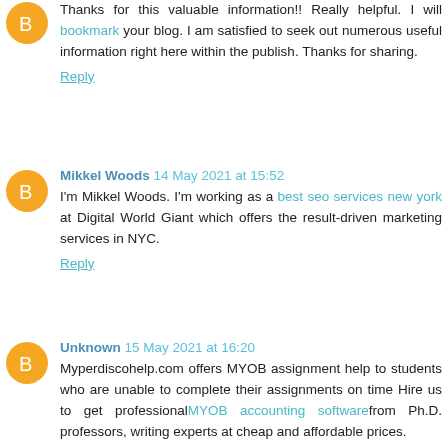Thanks for this valuable information!! Really helpful. I will bookmark your blog. I am satisfied to seek out numerous useful information right here within the publish. Thanks for sharing.
Reply
Mikkel Woods 14 May 2021 at 15:52
I'm Mikkel Woods. I'm working as a best seo services new york at Digital World Giant which offers the result-driven marketing services in NYC.
Reply
Unknown 15 May 2021 at 16:20
Myperdiscohelp.com offers MYOB assignment help to students who are unable to complete their assignments on time Hire us to get professionalMYOB accounting softwarefrom Ph.D. professors, writing experts at cheap and affordable prices.